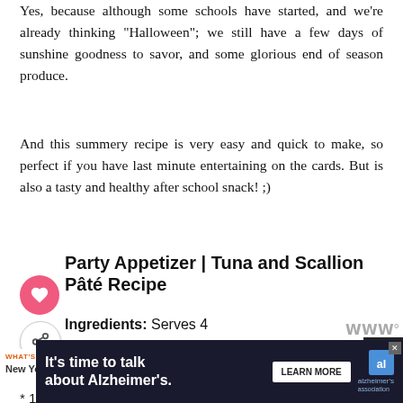Yes, because although some schools have started, and we're already thinking "Halloween"; we still have a few days of sunshine goodness to savor, and some glorious end of season produce.
And this summery recipe is very easy and quick to make, so perfect if you have last minute entertaining on the cards. But is also a tasty and healthy after school snack! ;)
Party Appetizer | Tuna and Scallion Pâté Recipe
Ingredients: Serves 4
tuna drained (keep a tablespoons of the oil or brine)
sliced, thin scallions (including green part)
1 garlic clove peeled and crushed
[Figure (other): Advertisement banner: It's time to talk about Alzheimer's. LEARN MORE. Alzheimer's Association logo.]